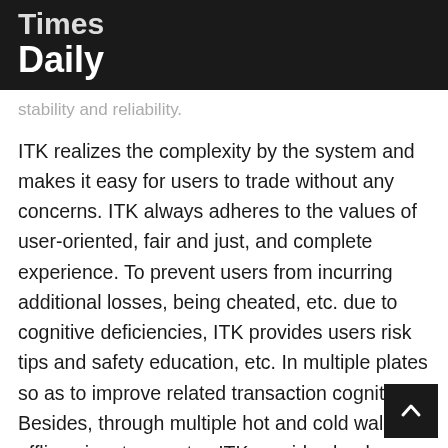Times Daily
stability and reliability.
ITK realizes the complexity by the system and makes it easy for users to trade without any concerns. ITK always adheres to the values of user-oriented, fair and just, and complete experience. To prevent users from incurring additional losses, being cheated, etc. due to cognitive deficiencies, ITK provides users risk tips and safety education, etc. In multiple plates so as to improve related transaction cognition. Besides, through multiple hot and cold wallets, offline signatures, etc., ITK provides bank – level wallet security services to ensure the safety of user assets; AI smart currency withdraw risk control system have double guarantees of efficiency and security.